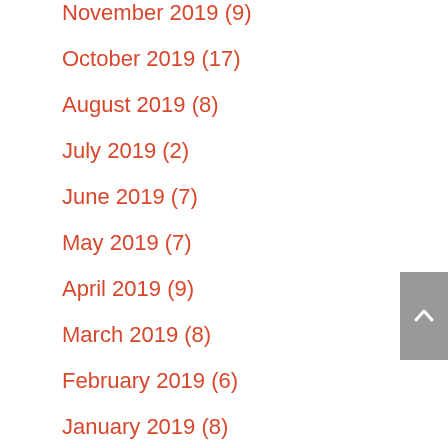November 2019 (9)
October 2019 (17)
August 2019 (8)
July 2019 (2)
June 2019 (7)
May 2019 (7)
April 2019 (9)
March 2019 (8)
February 2019 (6)
January 2019 (8)